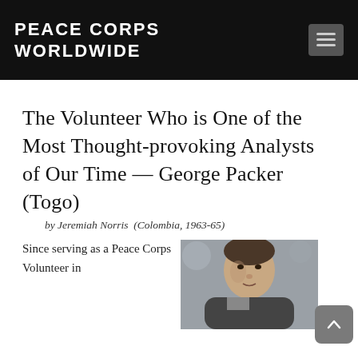PEACE CORPS WORLDWIDE
The Volunteer Who is One of the Most Thought-provoking Analysts of Our Time — George Packer (Togo)
by Jeremiah Norris  (Colombia, 1963-65)
Since serving as a Peace Corps Volunteer in
[Figure (photo): Portrait photo of George Packer, a man with dark hair, partially visible, cropped at the bottom of the page.]